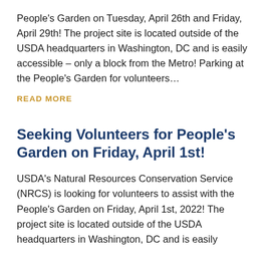People's Garden on Tuesday, April 26th and Friday, April 29th! The project site is located outside of the USDA headquarters in Washington, DC and is easily accessible – only a block from the Metro! Parking at the People's Garden for volunteers…
READ MORE
Seeking Volunteers for People's Garden on Friday, April 1st!
USDA's Natural Resources Conservation Service (NRCS) is looking for volunteers to assist with the People's Garden on Friday, April 1st, 2022! The project site is located outside of the USDA headquarters in Washington, DC and is easily